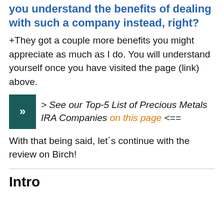you understand the benefits of dealing with such a company instead, right?
+They got a couple more benefits you might appreciate as much as I do. You will understand yourself once you have visited the page (link) above.
>> See our Top-5 List of Precious Metals IRA Companies on this page <==
With that being said, let´s continue with the review on Birch!
Intro